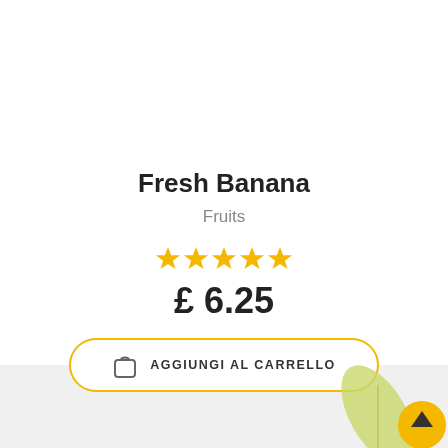Fresh Banana
Fruits
[Figure (other): Five gold star rating icons]
£ 6.25
AGGIUNGI AL CARRELLO
[Figure (illustration): Banana leaf and yellow scroll-to-top button in the bottom right corner]